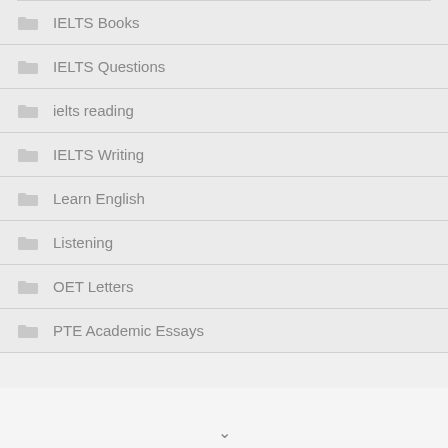IELTS Books
IELTS Questions
ielts reading
IELTS Writing
Learn English
Listening
OET Letters
PTE Academic Essays